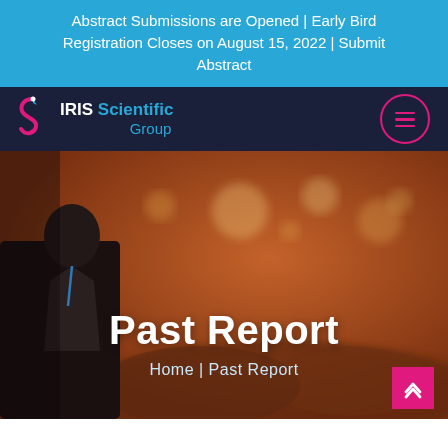Abstract Submissions are Opened | Early Bird Registration Closes on August 15, 2022 | Submit Abstract
[Figure (logo): IRIS Scientific Group logo with stylized S icon in blue and pink]
[Figure (photo): Blurred conference hall photo showing a speaker from behind facing a large audience, warm orange-brown tones]
Past Report
Home  |  Past Report